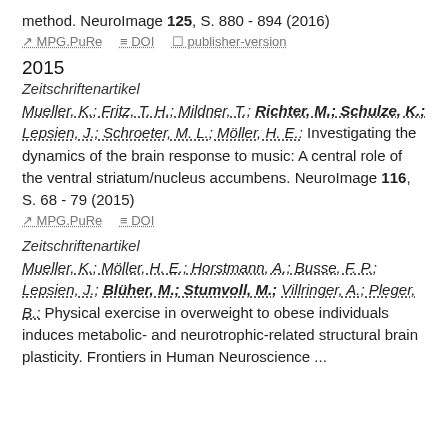method. NeuroImage 125, S. 880 - 894 (2016)
MPG.PuRe   DOI   publisher-version
2015
Zeitschriftenartikel
Mueller, K.; Fritz, T. H.; Mildner, T.; Richter, M.; Schulze, K.; Lepsien, J.; Schroeter, M. L.; Möller, H. E.: Investigating the dynamics of the brain response to music: A central role of the ventral striatum/nucleus accumbens. NeuroImage 116, S. 68 - 79 (2015)
MPG.PuRe   DOI
Zeitschriftenartikel
Mueller, K.; Möller, H. E.; Horstmann, A.; Busse, F. P.; Lepsien, J.; Blüher, M.; Stumvoll, M.; Villringer, A.; Pleger, B.: Physical exercise in overweight to obese individuals induces metabolic- and neurotrophic-related structural brain plasticity. Frontiers in Human Neuroscience ...